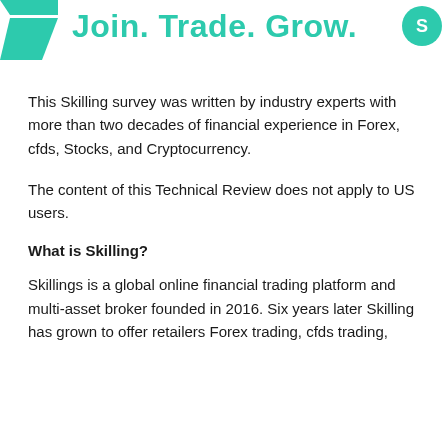[Figure (logo): Skilling logo with teal chevron/parallelogram shape on the left and the text 'Join. Trade. Grow.' in teal, plus a teal circle icon on the right]
This Skilling survey was written by industry experts with more than two decades of financial experience in Forex, cfds, Stocks, and Cryptocurrency.
The content of this Technical Review does not apply to US users.
What is Skilling?
Skillings is a global online financial trading platform and multi-asset broker founded in 2016. Six years later Skilling has grown to offer retailers Forex trading, cfds trading,